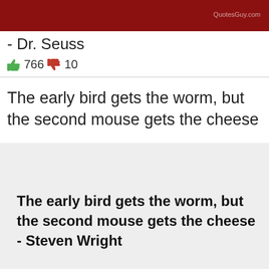QuotesGuy.com
- Dr. Seuss
👍 766  👎 10
The early bird gets the worm, but the second mouse gets the cheese
[Figure (screenshot): Gray box with bold quote text: The early bird gets the worm, but the second mouse gets the cheese - Steven Wright]